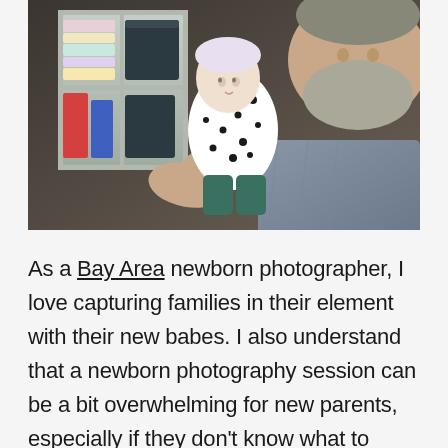[Figure (photo): A bearded older man holding a newborn baby dressed in a white onesie with black polka dots. The baby is being cradled and held up close to the man's face. In the background there is a white shelf unit with colorful folded blankets and storage boxes.]
As a Bay Area newborn photographer, I love capturing families in their element with their new babes. I also understand that a newborn photography session can be a bit overwhelming for new parents, especially if they don't know what to expect. Here's how to